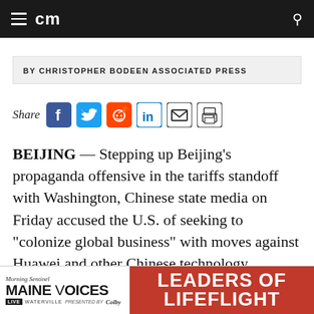cm
BY CHRISTOPHER BODEEN ASSOCIATED PRESS
[Figure (infographic): Social share icons row: Share label followed by Facebook, Twitter, Reddit, LinkedIn, Email, and Print icons]
BEIJING — Stepping up Beijing’s propaganda offensive in the tariffs standoff with Washington, Chinese state media on Friday accused the U.S. of seeking to “colonize global business” with moves against Huawei and other Chinese technology companies.
[Figure (infographic): Advertisement banner: Morning Sentinel Maine Voices Live Waterville presented by Colby | Leaders of Lifeflight]